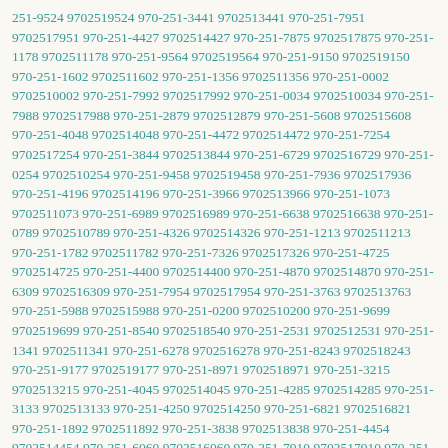251-9524 9702519524 970-251-3441 9702513441 970-251-7951 9702517951 970-251-4427 9702514427 970-251-7875 9702517875 970-251-1178 9702511178 970-251-9564 9702519564 970-251-9150 9702519150 970-251-1602 9702511602 970-251-1356 9702511356 970-251-0002 9702510002 970-251-7992 9702517992 970-251-0034 9702510034 970-251-7988 9702517988 970-251-2879 9702512879 970-251-5608 9702515608 970-251-4048 9702514048 970-251-4472 9702514472 970-251-7254 9702517254 970-251-3844 9702513844 970-251-6729 9702516729 970-251-0254 9702510254 970-251-9458 9702519458 970-251-7936 9702517936 970-251-4196 9702514196 970-251-3966 9702513966 970-251-1073 9702511073 970-251-6989 9702516989 970-251-6638 9702516638 970-251-0789 9702510789 970-251-4326 9702514326 970-251-1213 9702511213 970-251-1782 9702511782 970-251-7326 9702517326 970-251-4725 9702514725 970-251-4400 9702514400 970-251-4870 9702514870 970-251-6309 9702516309 970-251-7954 9702517954 970-251-3763 9702513763 970-251-5988 9702515988 970-251-0200 9702510200 970-251-9699 9702519699 970-251-8540 9702518540 970-251-2531 9702512531 970-251-1341 9702511341 970-251-6278 9702516278 970-251-8243 9702518243 970-251-9177 9702519177 970-251-8971 9702518971 970-251-3215 9702513215 970-251-4045 9702514045 970-251-4285 9702514285 970-251-3133 9702513133 970-251-4250 9702514250 970-251-6821 9702516821 970-251-1892 9702511892 970-251-3838 9702513838 970-251-4454 9702514454 970-251-6060 9702516060 970-251-7910 9702517910 970-251-5239 9702515239 970-251-1512 9702511512 970-251-7839 9702517839 970-251-9120 9702519120 970-251-2811 9702512811 970-251-8426 9702518426 970-251-2127